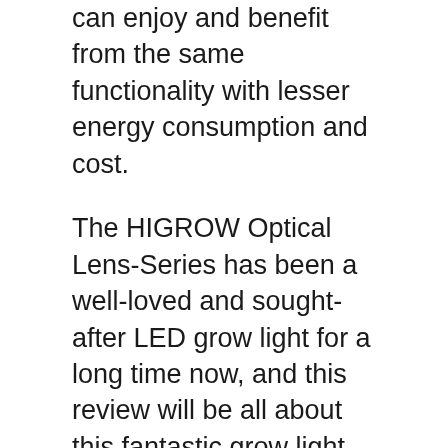can enjoy and benefit from the same functionality with lesser energy consumption and cost.
The HIGROW Optical Lens-Series has been a well-loved and sought-after LED grow light for a long time now, and this review will be all about this fantastic grow light. So if you want to know more about this LED grow light, read on.
About the HIGROW Optical Lens-Series 1000W
The HIGROW Optical Lens-Series grow light is a full-spectrum light for indoor cannabis plants that are able to provide excellent and bright light that cannabis plants often need